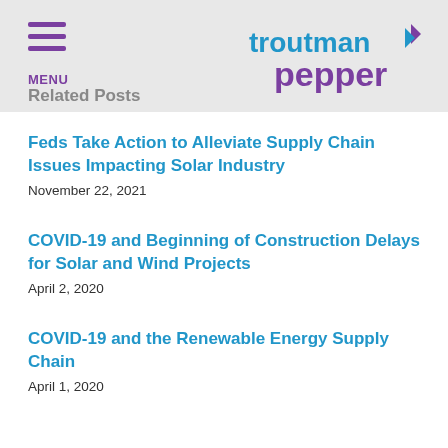MENU | Related Posts | Troutman Pepper
Feds Take Action to Alleviate Supply Chain Issues Impacting Solar Industry
November 22, 2021
COVID-19 and Beginning of Construction Delays for Solar and Wind Projects
April 2, 2020
COVID-19 and the Renewable Energy Supply Chain
April 1, 2020